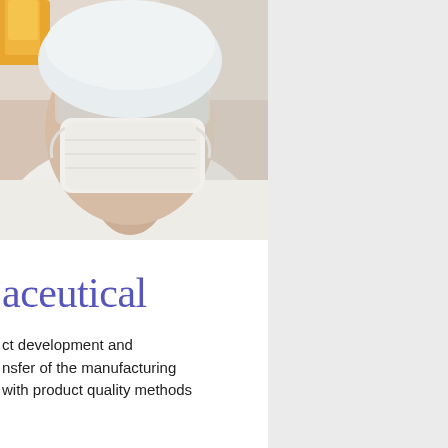[Figure (photo): Close-up photo of a person wearing a surgical mask, face shield, and white lab coat, viewed in a laboratory or medical setting. A yellow/amber flask or container is visible in the upper left corner. The image is slightly blurred/soft focus.]
aceutical
ct development and nsfer of the manufacturing with product quality methods